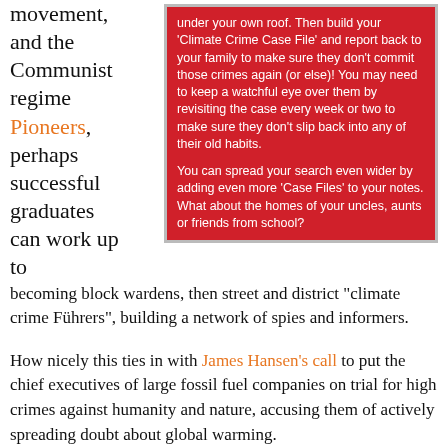movement, and the Communist regime Pioneers, perhaps successful graduates can work up to
under your own roof. Then build your 'Climate Crime Case File' and report back to your family to make sure they don't commit those crimes again (or else)! You may need to keep a watchful eye over them by revisiting the case every week or two to make sure they don't slip back into any of their old habits.

You can spread your search even wider by adding even more 'Case Files' to your notes. What about the homes of your uncles, aunts or friends from school?
becoming block wardens, then street and district "climate crime Führers", building a network of spies and informers.
How nicely this ties in with James Hansen's call to put the chief executives of large fossil fuel companies on trial for high crimes against humanity and nature, accusing them of actively spreading doubt about global warming.
No doubt, with a willing band of "climate cops", the prosecutors can spread their nets wider, reaching into the homes of all climate change deniers, until the insidious virus of doubt is exterminated (final solution, anyone?). Then we